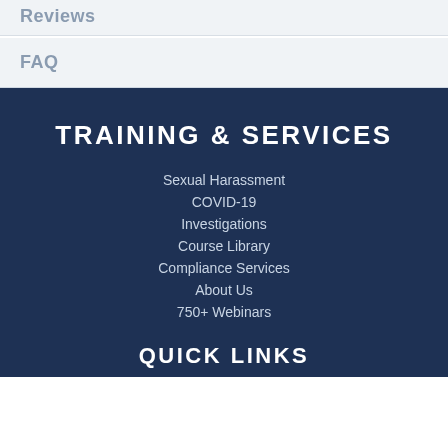Reviews
FAQ
TRAINING & SERVICES
Sexual Harassment
COVID-19
Investigations
Course Library
Compliance Services
About Us
750+ Webinars
QUICK LINKS